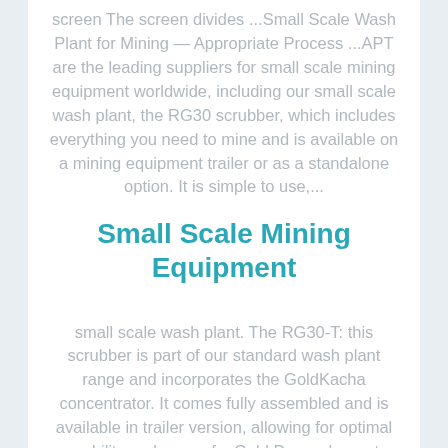screen The screen divides ...Small Scale Wash Plant for Mining — Appropriate Process ...APT are the leading suppliers for small scale mining equipment worldwide, including our small scale wash plant, the RG30 scrubber, which includes everything you need to mine and is available on a mining equipment trailer or as a standalone option. It is simple to use,...
Small Scale Mining Equipment
small scale wash plant. The RG30-T: this scrubber is part of our standard wash plant range and incorporates the GoldKacha concentrator. It comes fully assembled and is available in trailer version, allowing for optimal mobility and ease of ...Gold Drywashers at Kellyco | Gold Prospecting EquipmentGold drywashers have been used for decades, as they are a very efficient way